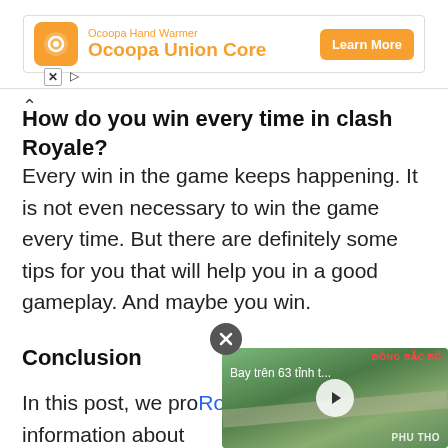[Figure (screenshot): Advertisement banner for Ocoopa Hand Warmer - Ocoopa Union Core with Learn More button]
How do you win every time in clash Royale?
Every win in the game keeps happening. It is not even necessary to win the game every time. But there are definitely some tips for you that will help you in a good gameplay. And maybe you win.
Conclusion
In this post, we pro... Royale arena 7 to u... information about ... deck. In the future new rush royale best deck